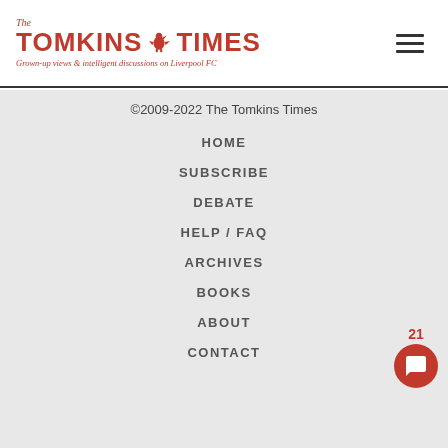[Figure (logo): The Tomkins Times logo with Liverpool FC Liver Bird, red text, italic tagline 'Grown-up views & intelligent discussions on Liverpool FC']
©2009-2022 The Tomkins Times
HOME
SUBSCRIBE
DEBATE
HELP / FAQ
ARCHIVES
BOOKS
ABOUT
CONTACT